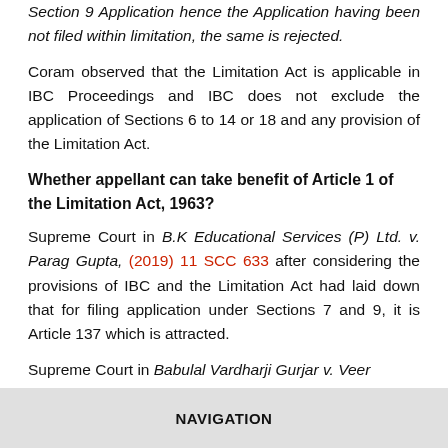Section 9 Application hence the Application having been not filed within limitation, the same is rejected.
Coram observed that the Limitation Act is applicable in IBC Proceedings and IBC does not exclude the application of Sections 6 to 14 or 18 and any provision of the Limitation Act.
Whether appellant can take benefit of Article 1 of the Limitation Act, 1963?
Supreme Court in B.K Educational Services (P) Ltd. v. Parag Gupta, (2019) 11 SCC 633 after considering the provisions of IBC and the Limitation Act had laid down that for filing application under Sections 7 and 9, it is Article 137 which is attracted.
Supreme Court in Babulal Vardharji Gurjar v. Veer
NAVIGATION